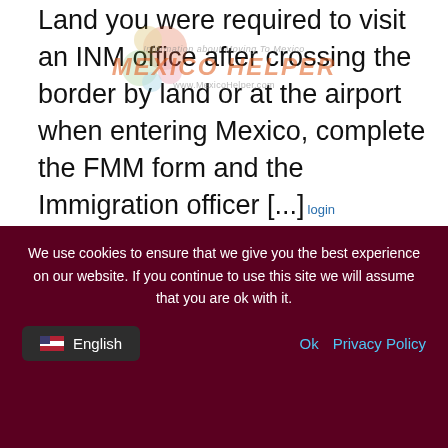Land you were required to visit an INM office after crossing the border by land or at the airport when entering Mexico, complete the FMM form and the Immigration officer [...]
[Figure (logo): Mexico Helper watermark logo with colorful decorative circles, text 'Information about Moving To Mexico', 'MEXICO HELPER' in orange, and 'www.MexicoHelper.com']
READ MORE
[Figure (infographic): Bottom card showing 'Programa tu cita en' button and 'March 5, 2022' date box on a tan/beige background]
We use cookies to ensure that we give you the best experience on our website. If you continue to use this site we will assume that you are ok with it.
Ok   Privacy Policy
English